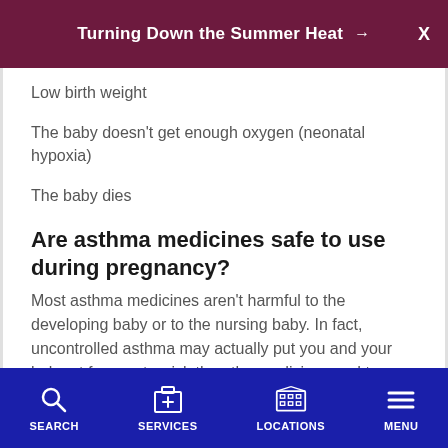Turning Down the Summer Heat →
Low birth weight
The baby doesn't get enough oxygen (neonatal hypoxia)
The baby dies
Are asthma medicines safe to use during pregnancy?
Most asthma medicines aren't harmful to the developing baby or to the nursing baby. In fact, uncontrolled asthma may actually put you and your baby at far greater risk than the medicine used to